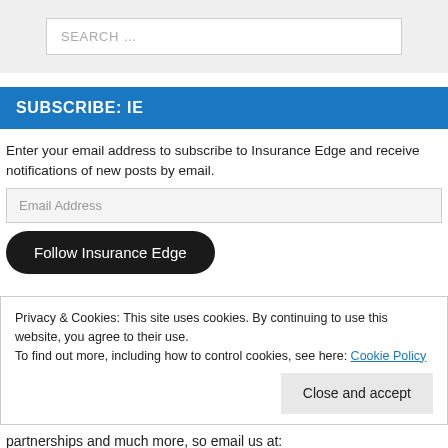[Figure (other): Search bar with placeholder text SEARCH ...]
SUBSCRIBE: IE
Enter your email address to subscribe to Insurance Edge and receive notifications of new posts by email.
[Figure (other): Email Address input field]
[Figure (other): Follow Insurance Edge button]
Privacy & Cookies: This site uses cookies. By continuing to use this website, you agree to their use.
To find out more, including how to control cookies, see here: Cookie Policy
[Figure (other): Close and accept button]
partnerships and much more, so email us at: